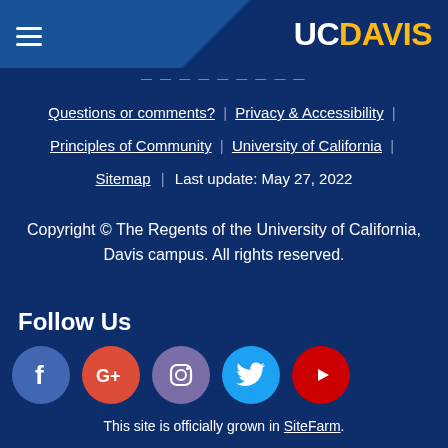UC Davis
Questions or comments? | Privacy & Accessibility | Principles of Community | University of California | Sitemap | Last update: May 27, 2022
Copyright © The Regents of the University of California, Davis campus. All rights reserved.
Follow Us
[Figure (other): Social media icons: Facebook, Google+, Instagram, Twitter, YouTube]
This site is officially grown in SiteFarm.